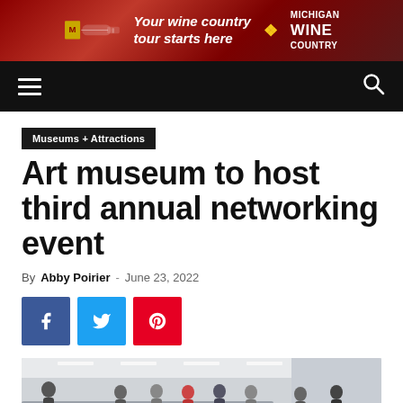[Figure (illustration): Michigan Wine Country advertisement banner — wine bottle graphic on dark red background with text 'Your wine country tour starts here' and 'Michigan Wine Country']
Navigation bar with hamburger menu and search icon
Museums + Attractions
Art museum to host third annual networking event
By Abby Poirier - June 23, 2022
[Figure (illustration): Social sharing buttons: Facebook (blue), Twitter (cyan), Pinterest (red)]
[Figure (photo): Interior of an art museum with people gathered on multiple levels, bright white interior, large artwork visible]